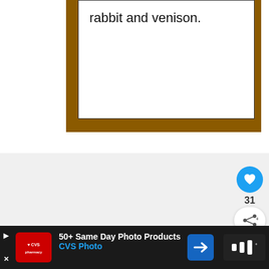rabbit and venison.
[Figure (screenshot): UI screenshot showing a like button (blue circle with heart icon) with count 31, and a share button below it. A 'What's Next' card showing 'Natural Balance...' is visible at bottom right of the gray section.]
[Figure (screenshot): Advertisement bar at the bottom with CVS Pharmacy logo, text '50+ Same Day Photo Products' and 'CVS Photo' in blue, a blue navigation arrow icon, and a dark icon on the right.]